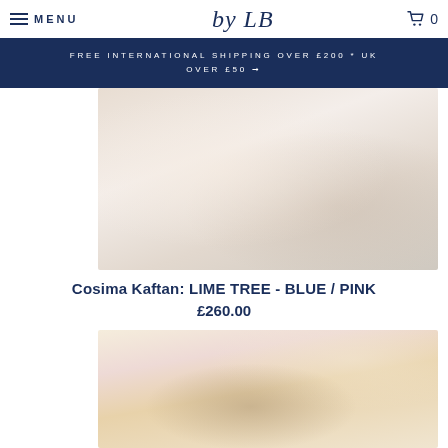MENU | by LB | 0
FREE INTERNATIONAL SHIPPING OVER £200 * UK OVER £50 →
[Figure (photo): Product photo of Cosima Kaftan in LIME TREE - BLUE / PINK colorway, light pastel tones]
Cosima Kaftan: LIME TREE - BLUE / PINK
£260.00
[Figure (photo): Second product photo showing a model wearing a kaftan in warm cream/yellow tones]